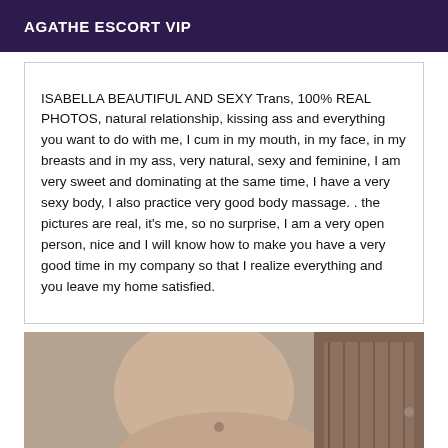AGATHE ESCORT VIP
ISABELLA BEAUTIFUL AND SEXY Trans, 100% REAL PHOTOS, natural relationship, kissing ass and everything you want to do with me, I cum in my mouth, in my face, in my breasts and in my ass, very natural, sexy and feminine, I am very sweet and dominating at the same time, I have a very sexy body, I also practice very good body massage. . the pictures are real, it's me, so no surprise, I am a very open person, nice and I will know how to make you have a very good time in my company so that I realize everything and you leave my home satisfied.
[Figure (photo): Partial body photo of a person, cropped, showing torso area with a wooden furniture/cabinet visible in the background]